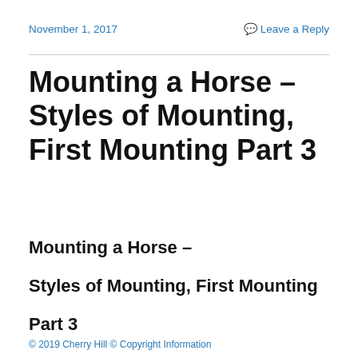November 1, 2017   Leave a Reply
Mounting a Horse – Styles of Mounting, First Mounting Part 3
Mounting a Horse –
Styles of Mounting, First Mounting
Part 3
© 2019 Cherry Hill © Copyright Information